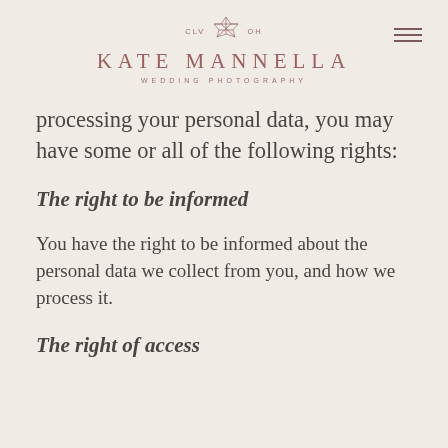[Figure (logo): Kate Mannella Wedding Photography logo with geometric flower icon and text CLV OH]
processing your personal data, you may have some or all of the following rights:
The right to be informed
You have the right to be informed about the personal data we collect from you, and how we process it.
The right of access